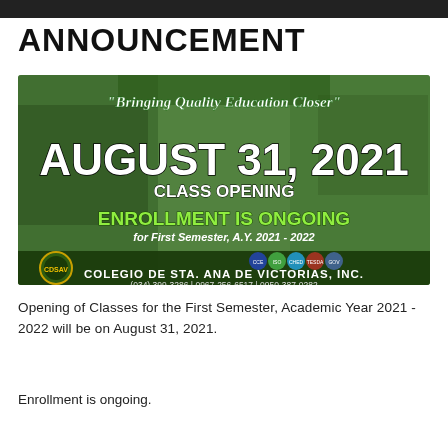ANNOUNCEMENT
[Figure (infographic): School announcement banner for Colegio de Sta. Ana de Victorias, Inc. with green-toned background showing campus facilities. Text reads: 'Bringing Quality Education Closer' - AUGUST 31, 2021 CLASS OPENING - ENROLLMENT IS ONGOING for First Semester, A.Y. 2021 - 2022. Contact: (034) 399-3286 | 0967-256-6517 | 0950-387-0282. School logos and accreditation badges shown at bottom.]
Opening of Classes for the First Semester, Academic Year 2021 - 2022 will be on August 31, 2021.
Enrollment is ongoing.